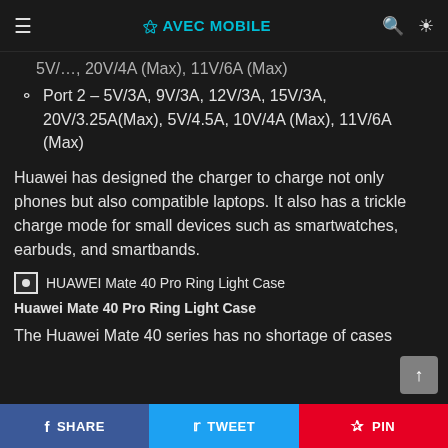≡ AVEC MOBILE 🔍 ☀
5V/…, 20V/4A (Max), 11V/6A (Max)
Port 2 – 5V/3A, 9V/3A, 12V/3A, 15V/3A, 20V/3.25A(Max), 5V/4.5A, 10V/4A (Max), 11V/6A (Max)
Huawei has designed the charger to charge not only phones but also compatible laptops. It also has a trickle charge mode for small devices such as smartwatches, earbuds, and smartbands.
[Figure (photo): HUAWEI Mate 40 Pro Ring Light Case — broken/placeholder image icon with alt text]
Huawei Mate 40 Pro Ring Light Case
The Huawei Mate 40 series has no shortage of cases